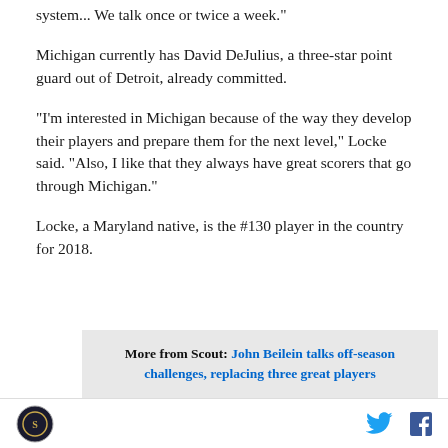system... We talk once or twice a week."
Michigan currently has David DeJulius, a three-star point guard out of Detroit, already committed.
"I'm interested in Michigan because of the way they develop their players and prepare them for the next level," Locke said. "Also, I like that they always have great scorers that go through Michigan."
Locke, a Maryland native, is the #130 player in the country for 2018.
More from Scout: John Beilein talks off-season challenges, replacing three great players
[Figure (screenshot): Partial image strip at bottom of article]
Scout logo, Twitter icon, Facebook icon